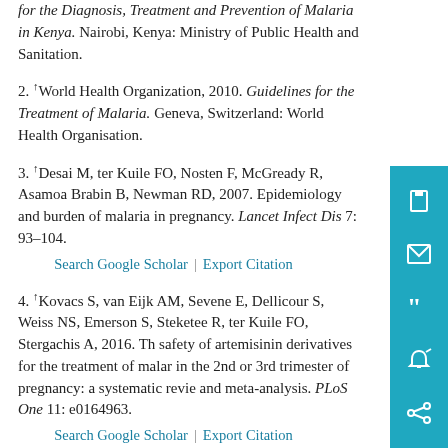for the Diagnosis, Treatment and Prevention of Malaria in Kenya. Nairobi, Kenya: Ministry of Public Health and Sanitation.
2. ↑World Health Organization, 2010. Guidelines for the Treatment of Malaria. Geneva, Switzerland: World Health Organisation.
3. ↑Desai M, ter Kuile FO, Nosten F, McGready R, Asamoa Brabin B, Newman RD, 2007. Epidemiology and burden of malaria in pregnancy. Lancet Infect Dis 7: 93–104.
Search Google Scholar | Export Citation
4. ↑Kovacs S, van Eijk AM, Sevene E, Dellicour S, Weiss NS, Emerson S, Steketee R, ter Kuile FO, Stergachis A, 2016. The safety of artemisinin derivatives for the treatment of malaria in the 2nd or 3rd trimester of pregnancy: a systematic review and meta-analysis. PLoS One 11: e0164963.
Search Google Scholar | Export Citation